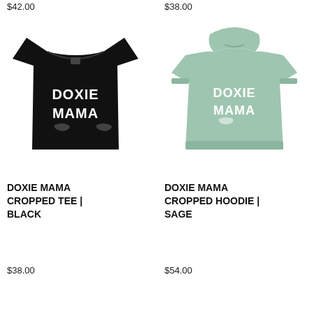$42.00
$38.00
[Figure (photo): Black cropped t-shirt with 'DOXIE MAMA' text and dachshund graphic in white]
[Figure (photo): Sage/mint green cropped hoodie with 'DOXIE MAMA' text in white]
DOXIE MAMA CROPPED TEE | BLACK
$38.00
DOXIE MAMA CROPPED HOODIE | SAGE
$54.00